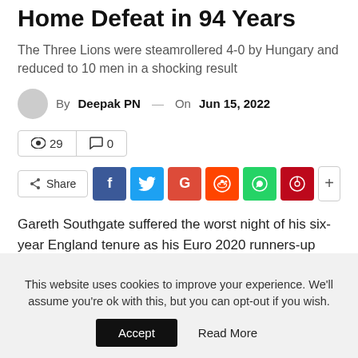Home Defeat in 94 Years
The Three Lions were steamrollered 4-0 by Hungary and reduced to 10 men in a shocking result
By Deepak PN — On Jun 15, 2022
👁 29  💬 0
Share | f | Twitter | G | Reddit | WhatsApp | Pinterest | +
Gareth Southgate suffered the worst night of his six-year England tenure as his Euro 2020 runners-up were thrashed 4-0 by Hungary in the Nations League match at Molineaux on Tuesday. They had
This website uses cookies to improve your experience. We'll assume you're ok with this, but you can opt-out if you wish.